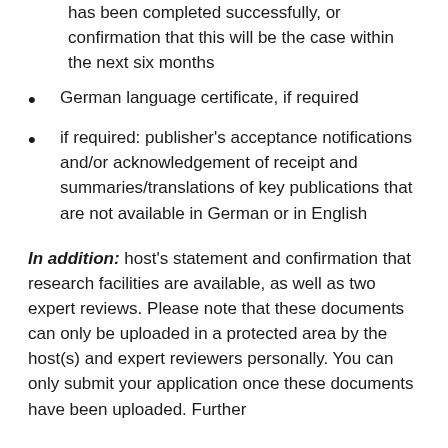has been completed successfully, or confirmation that this will be the case within the next six months
German language certificate, if required
if required: publisher's acceptance notifications and/or acknowledgement of receipt and summaries/translations of key publications that are not available in German or in English
In addition: host's statement and confirmation that research facilities are available, as well as two expert reviews. Please note that these documents can only be uploaded in a protected area by the host(s) and expert reviewers personally. You can only submit your application once these documents have been uploaded. Further